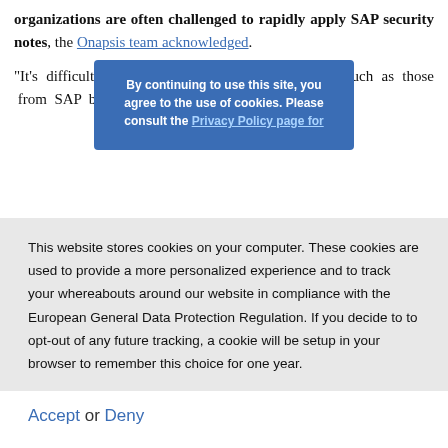organizations are often challenged to rapidly apply SAP security notes, the Onapsis team acknowledged.
"It's difficult to patch mission-critical applications such as those from SAP because [they] to be constantly
[Figure (screenshot): Cookie consent overlay banner with blue background reading: By continuing to use this site, you agree to the use of cookies. Please consult the Privacy Policy page for]
This website stores cookies on your computer. These cookies are used to provide a more personalized experience and to track your whereabouts around our website in compliance with the European General Data Protection Regulation. If you decide to to opt-out of any future tracking, a cookie will be setup in your browser to remember this choice for one year.
Accept or Deny